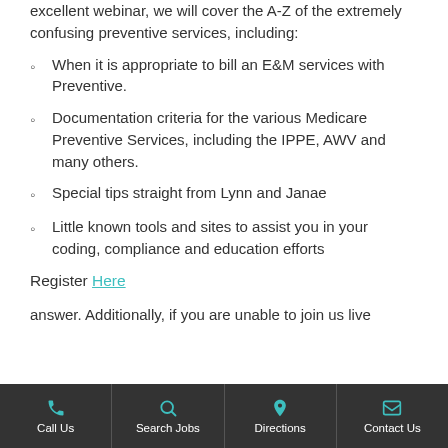excellent webinar, we will cover the A-Z of the extremely confusing preventive services, including:
When it is appropriate to bill an E&M services with Preventive.
Documentation criteria for the various Medicare Preventive Services, including the IPPE, AWV and many others.
Special tips straight from Lynn and Janae
Little known tools and sites to assist you in your coding, compliance and education efforts
Register Here
answer. Additionally, if you are unable to join us live
Call Us | Search Jobs | Directions | Contact Us